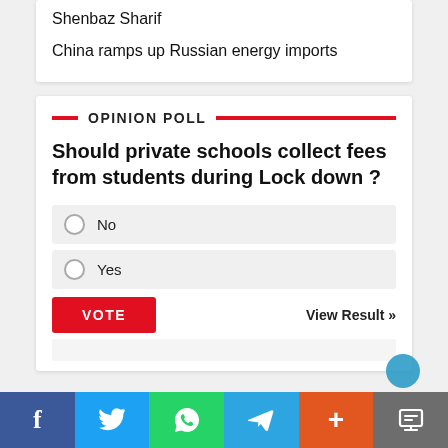Shenbaz Sharif
China ramps up Russian energy imports
OPINION POLL
Should private schools collect fees from students during Lock down ?
No
Yes
VOTE
View Result »